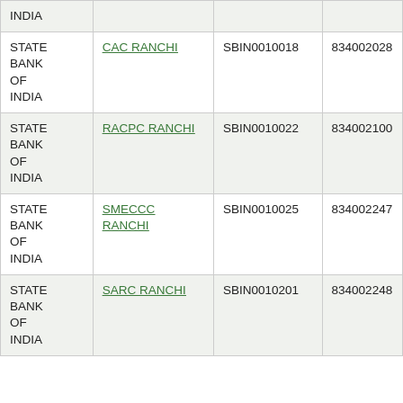| STATE BANK OF INDIA | INDIA |  |  |
| STATE BANK OF INDIA | CAC RANCHI | SBIN0010018 | 834002028 |
| STATE BANK OF INDIA | RACPC RANCHI | SBIN0010022 | 834002100 |
| STATE BANK OF INDIA | SMECCC RANCHI | SBIN0010025 | 834002247 |
| STATE BANK OF INDIA | SARC RANCHI | SBIN0010201 | 834002248 |